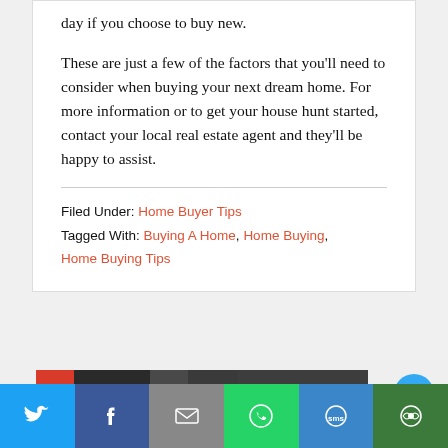day if you choose to buy new.
These are just a few of the factors that you'll need to consider when buying your next dream home. For more information or to get your house hunt started, contact your local real estate agent and they'll be happy to assist.
Filed Under: Home Buyer Tips
Tagged With: Buying A Home, Home Buying, Home Buying Tips
1 2 3 ... 12 Next Page »